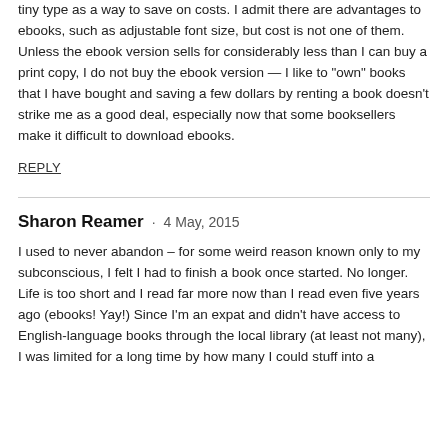reading, although it irritates me greatly when the publisher uses tiny type as a way to save on costs. I admit there are advantages to ebooks, such as adjustable font size, but cost is not one of them. Unless the ebook version sells for considerably less than I can buy a print copy, I do not buy the ebook version — I like to “own” books that I have bought and saving a few dollars by renting a book doesn’t strike me as a good deal, especially now that some booksellers make it difficult to download ebooks.
REPLY
Sharon Reamer · 4 May, 2015
I used to never abandon – for some weird reason known only to my subconscious, I felt I had to finish a book once started. No longer. Life is too short and I read far more now than I read even five years ago (ebooks! Yay!) Since I’m an expat and didn’t have access to English-language books through the local library (at least not many), I was limited for a long time by how many I could stuff into a